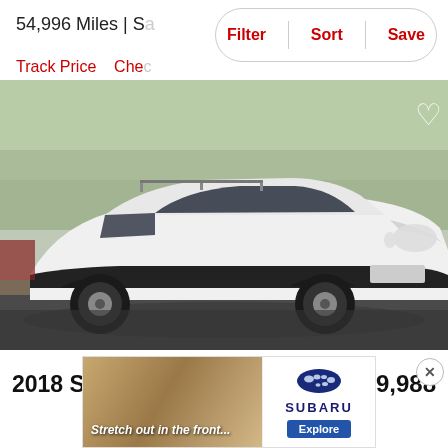54,996 Miles | Sa...
Filter | Sort | Save
Track Price  Che...
[Figure (photo): White 2018 Subaru Crosstrek 2.0i SUV photographed outdoors in a parking area, front three-quarter view, with trees and a chain-link fence in the background. A heart/favorite icon is visible in the top-right corner of the photo.]
2018 Subaru Crosstrek 2.0i
$19,988
[Figure (photo): Advertisement showing a Subaru vehicle interior with text 'Stretch out in the front...' on the left side, and the Subaru logo with 'SUBARU' text and an 'Explore' button on the right side.]